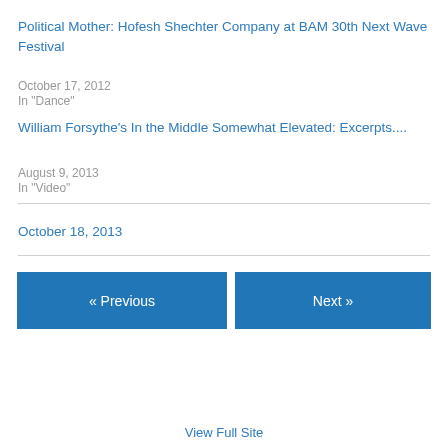Political Mother: Hofesh Shechter Company at BAM 30th Next Wave Festival
October 17, 2012
In "Dance"
William Forsythe's In the Middle Somewhat Elevated: Excerpts....
August 9, 2013
In "Video"
October 18, 2013
« Previous
Next »
View Full Site